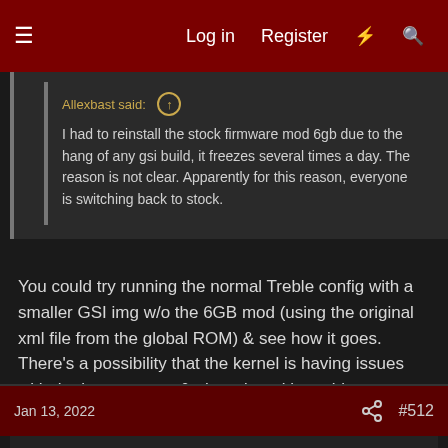Log in  Register
Allexbast said: ↑ I had to reinstall the stock firmware mod 6gb due to the hang of any gsi build, it freezes several times a day. The reason is not clear. Apparently for this reason, everyone is switching back to stock.
You could try running the normal Treble config with a smaller GSI img w/o the 6GB mod (using the original xml file from the global ROM) & see how it goes. There's a possibility that the kernel is having issues with the larger space & altered partition table.
Jan 13, 2022  #512
Allexbast
n00b
CrimsonKnight13 said: ↑